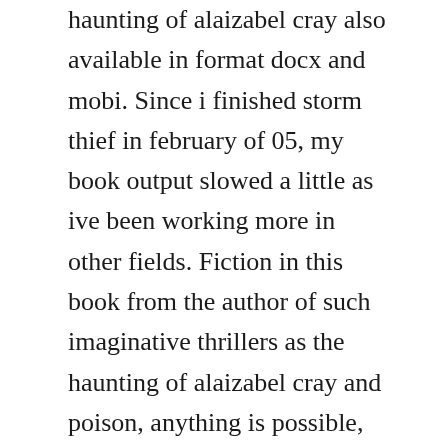haunting of alaizabel cray also available in format docx and mobi. Since i finished storm thief in february of 05, my book output slowed a little as ive been working more in other fields. Fiction in this book from the author of such imaginative thrillers as the haunting of alaizabel cray and poison, anything is possible, especially in the island city of orokos. The points of view used in the storm thief by chris wooding remain in the thirdperson subjective or personal, in which the story is recounted in in the he, she, they, or it mode, but diverts suddenly into the inner